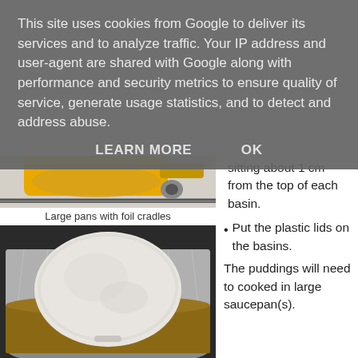This site uses cookies from Google to deliver its services and to analyze traffic. Your IP address and user-agent are shared with Google along with performance and security metrics to ensure quality of service, generate usage statistics, and to detect and address abuse.
LEARN MORE    OK
[Figure (photo): Large yellow pan with foil cradle on a gas stove]
Large pans with foil cradles
[Figure (photo): A round white plastic-lidded pudding basin sitting in a foil cradle inside a large metal saucepan]
sitting about 1 cm from the top of each basin.
Put the plastic lids on the basins.
The puddings will need to cooked in large saucepan(s).